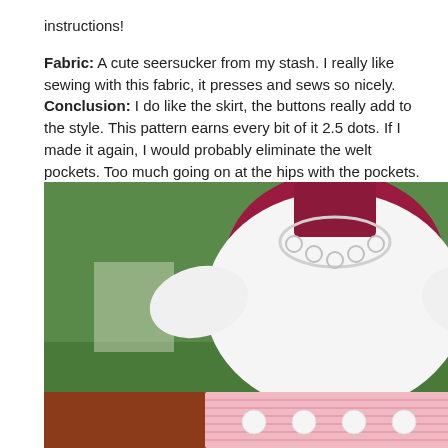instructions! Fabric: A cute seersucker from my stash. I really like sewing with this fabric, it presses and sews so nicely. Conclusion: I do like the skirt, the buttons really add to the style. This pattern earns every bit of it 2.5 dots. If I made it again, I would probably eliminate the welt pockets. Too much going on at the hips with the pockets.
[Figure (photo): A dress form/mannequin wearing a white top and a pink seersucker skirt with white buttons, displayed outdoors in a garden setting with green trees and red mulch visible in the background.]